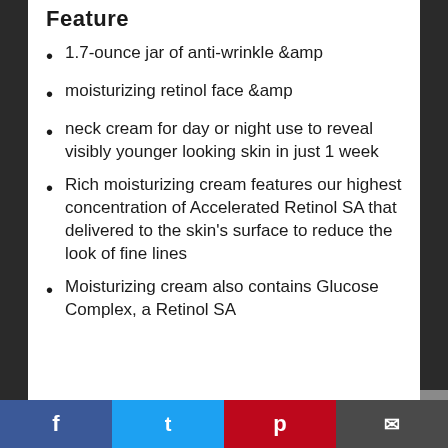Feature
1.7-ounce jar of anti-wrinkle &amp
moisturizing retinol face &amp
neck cream for day or night use to reveal visibly younger looking skin in just 1 week
Rich moisturizing cream features our highest concentration of Accelerated Retinol SA that delivered to the skin’s surface to reduce the look of fine lines
Moisturizing cream also contains Glucose Complex, a Retinol SA booster, which help...